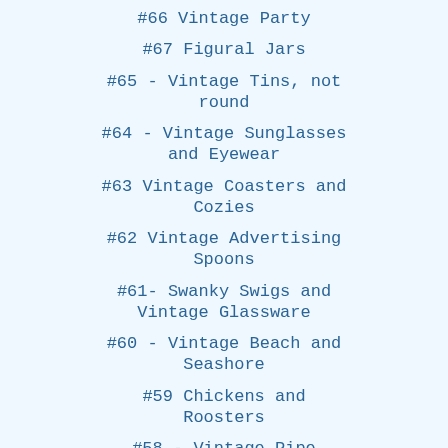#66 Vintage Party
#67 Figural Jars
#65 - Vintage Tins, not round
#64 - Vintage Sunglasses and Eyewear
#63 Vintage Coasters and Cozies
#62 Vintage Advertising Spoons
#61- Swanky Swigs and Vintage Glassware
#60 - Vintage Beach and Seashore
#59 Chickens and Roosters
#58 - Vintage Pipe Cleaners